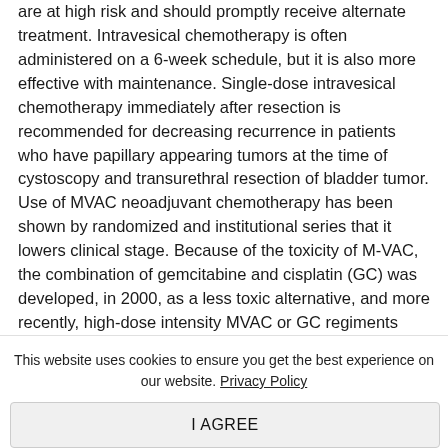are at high risk and should promptly receive alternate treatment. Intravesical chemotherapy is often administered on a 6-week schedule, but it is also more effective with maintenance. Single-dose intravesical chemotherapy immediately after resection is recommended for decreasing recurrence in patients who have papillary appearing tumors at the time of cystoscopy and transurethral resection of bladder tumor. Use of MVAC neoadjuvant chemotherapy has been shown by randomized and institutional series that it lowers clinical stage. Because of the toxicity of M-VAC, the combination of gemcitabine and cisplatin (GC) was developed, in 2000, as a less toxic alternative, and more recently, high-dose intensity MVAC or GC regiments have been studied and results are satisfactory...
This website uses cookies to ensure you get the best experience on our website. Privacy Policy
I AGREE